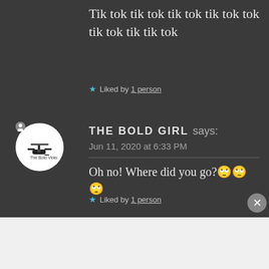Tik tok tik tok tik tok tik tok tok tik tok tik tik tok
★ Liked by 1 person
THE BOLD GIRL says: Jun 11, 2020 at 6:33 PM
Oh no! Where did you go?🙄🙄🙄
★ Liked by 1 person
Advertisements
[Figure (other): Advertisement banner: An app by listeners, for listeners. Pocket Casts logo with phone image.]